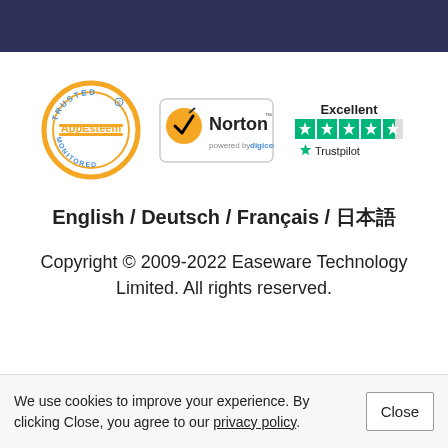[Figure (logo): AppEsteem Trusted Monitored badge (circular orange border with AppEsteem text)]
[Figure (logo): Norton powered by DigiCert security badge]
[Figure (logo): Trustpilot Excellent rating with 4.5 green stars]
English / Deutsch / Français / 日本語
Copyright © 2009-2022 Easeware Technology Limited. All rights reserved.
We use cookies to improve your experience. By clicking Close, you agree to our privacy policy.